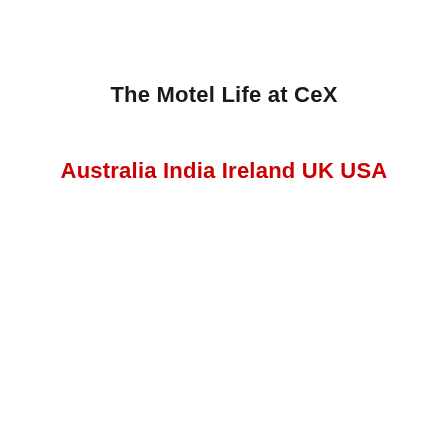The Motel Life at CeX
Australia India Ireland UK USA